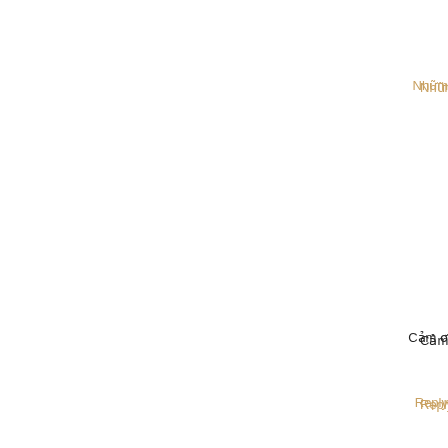Nhữm...
Cảm ơ...
Reply
[Figure (illustration): Orange circular Blogger avatar icon with white B logo]
beobe...
Bài vi...
Léu x...
Léu x...
Cảm ơ...
Reply